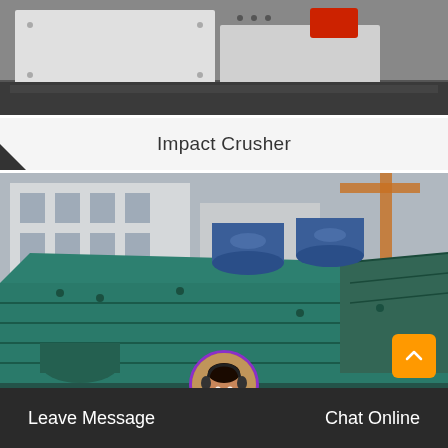[Figure (photo): Top portion of an impact crusher machine in a warehouse/industrial setting, showing white and gray metal body with red component and visible bolts]
Impact Crusher
[Figure (photo): Large industrial vibrating screen / screening machine painted teal/green, with blue cylindrical vibration motors on top, sitting on a warehouse floor with industrial building in background]
Leave Message
Chat Online